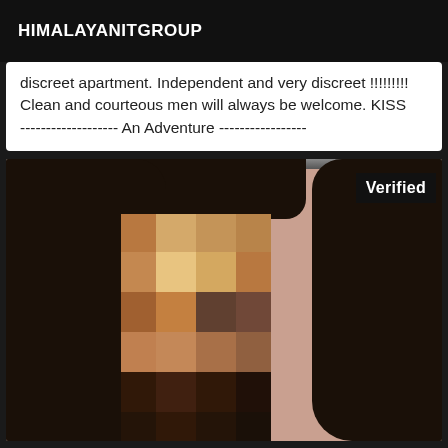HIMALAYANITGROUP
discreet apartment. Independent and very discreet !!!!!!!!! Clean and courteous men will always be welcome. KISS ------------------- An Adventure -----------------
[Figure (photo): A person with long dark hair, face pixelated/blurred for anonymity, with a 'Verified' badge in the top right corner of the photo. Background is pinkish-peach color.]